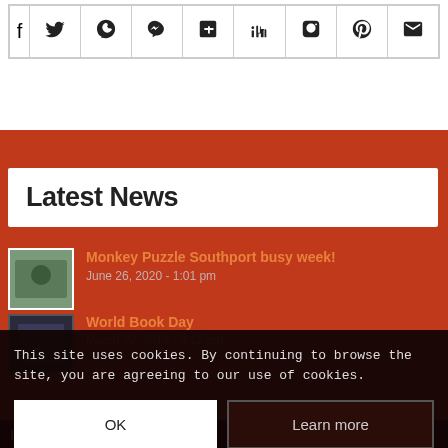[Figure (other): Social share buttons row: Facebook, Twitter, WhatsApp, Pinterest, LinkedIn, Tumblr, VK, Reddit, Email icons in a table]
Latest News
Monkey Puzzle Southport busy week!
June 26, 2020 - 1:01 pm
World Book Day
March 29, 2019 - 3:12 pm
This site uses cookies. By continuing to browse the site, you are agreeing to our use of cookies.
Like us on Facebook!